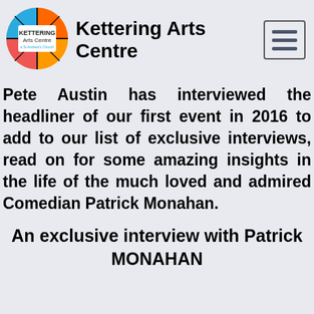[Figure (logo): Kettering Arts Centre circular logo with orange, blue, and black sections, text 'KETTERING Arts Centre a St Andrew's Church' in center]
Kettering Arts Centre
[Figure (other): Hamburger menu icon button with three horizontal bars inside a rounded rectangle border]
Pete Austin has interviewed the headliner of our first event in 2016 to add to our list of exclusive interviews, read on for some amazing insights in the life of the much loved and admired Comedian Patrick Monahan.
An exclusive interview with Patrick MONAHAN